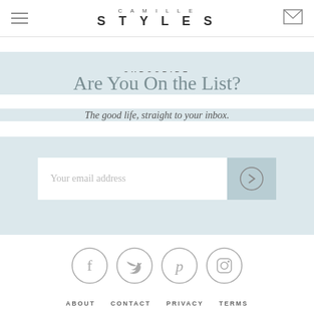CAMILLE STYLES
SUBSCRIBE
Are You On the List?
The good life, straight to your inbox.
[Figure (screenshot): Email input field with submit button]
[Figure (infographic): Social media icons: Facebook, Twitter, Pinterest, Instagram]
ABOUT   CONTACT   PRIVACY   TERMS